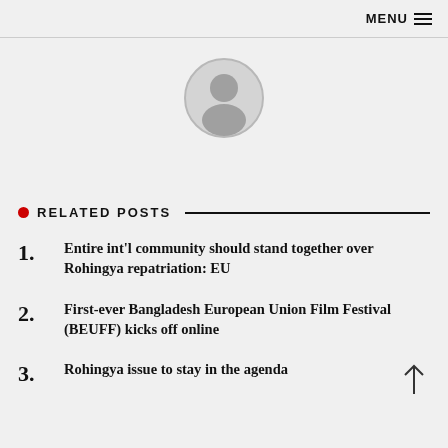MENU
[Figure (illustration): Generic user avatar icon — circular profile placeholder with grey silhouette of a person]
RELATED POSTS
1. Entire int'l community should stand together over Rohingya repatriation: EU
2. First-ever Bangladesh European Union Film Festival (BEUFF) kicks off online
3. Rohingya issue to stay in the agenda